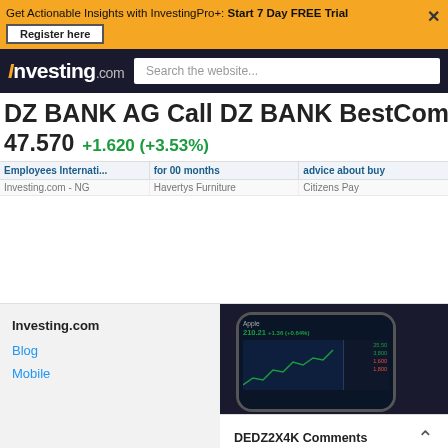Get Actionable Insights with InvestingPro+: Start 7 Day FREE Trial
Register here
Investing.com | Search the website...
DZ BANK AG Call DZ BANK BestCommodit
47.570  +1.620 (+3.53%)
Employees Internati...  |  for 00 months  |  advice about buy
Investing.com - NG  |  Havertys Furniture  |  Citizens Pay
Investing.com
Blog
Mobile
DEDZ2X4K Comments